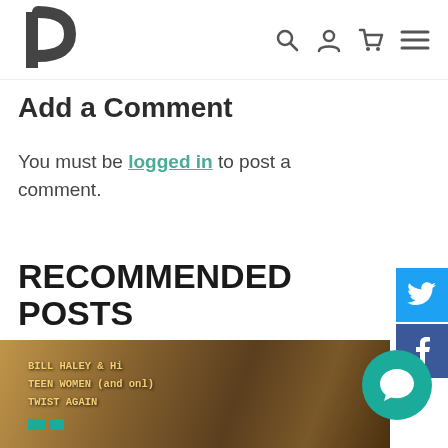[P] logo with search, user, cart, menu icons
Add a Comment
You must be logged in to post a comment.
RECOMMENDED POSTS
[Figure (photo): Photograph of cassette tape or record spines including text: BILL HALEY & HI, TEEN WOMEN (and on, TWIST AGAIN]
[Figure (other): Twitter share button (blue)]
[Figure (other): Facebook share button (dark blue)]
[Figure (other): Teal chat/comment bubble floating action button]